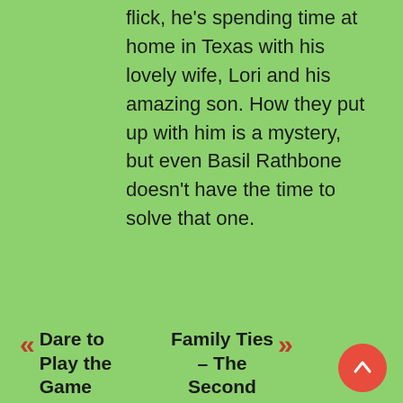flick, he's spending time at home in Texas with his lovely wife, Lori and his amazing son. How they put up with him is a mystery, but even Basil Rathbone doesn't have the time to solve that one.
« Dare to Play the Game
Family Ties – The Second »